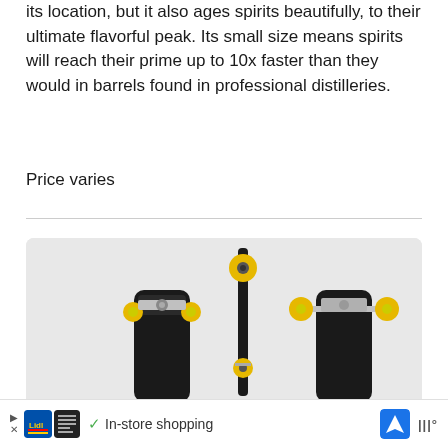its location, but it also ages spirits beautifully, to their ultimate flavorful peak. Its small size means spirits will reach their prime up to 10x faster than they would in barrels found in professional distilleries.
Price varies
[Figure (photo): Three views of a longboard skateboard with black deck and yellow wheels shown against a light gray background. Left view shows the top/deck side, middle view shows the board standing on its tail (side profile), right view shows the underside/truck assembly.]
In-store shopping